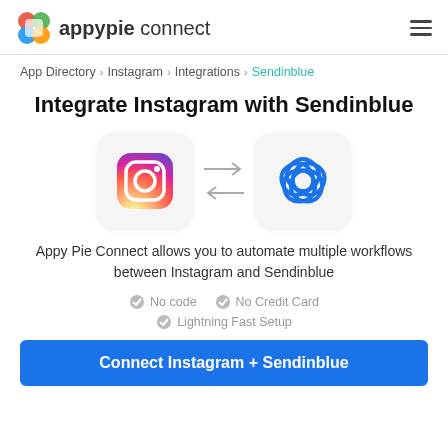appypie connect
App Directory > Instagram > Integrations > Sendinblue
Integrate Instagram with Sendinblue
[Figure (illustration): Instagram app icon and Sendinblue app icon with bidirectional arrows between them indicating integration]
Appy Pie Connect allows you to automate multiple workflows between Instagram and Sendinblue
No code
No Credit Card
Lightning Fast Setup
Connect Instagram + Sendinblue